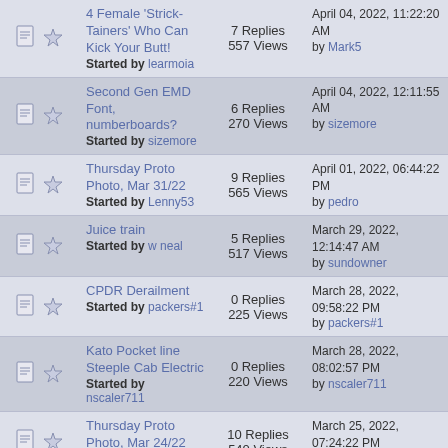| Icons | Topic | Stats | Last Post |
| --- | --- | --- | --- |
| [icons] | 4 Female 'Strick-Tainers' Who Can Kick Your Butt!
Started by learmoia | 7 Replies
557 Views | April 04, 2022, 11:22:20 AM
by Mark5 |
| [icons] | Second Gen EMD Font, numberboards?
Started by sizemore | 6 Replies
270 Views | April 04, 2022, 12:11:55 AM
by sizemore |
| [icons] | Thursday Proto Photo, Mar 31/22
Started by Lenny53 | 9 Replies
565 Views | April 01, 2022, 06:44:22 PM
by pedro |
| [icons] | Juice train
Started by w neal | 5 Replies
517 Views | March 29, 2022, 12:14:47 AM
by sundowner |
| [icons] | CPDR Derailment
Started by packers#1 | 0 Replies
225 Views | March 28, 2022, 09:58:22 PM
by packers#1 |
| [icons] | Kato Pocket line Steeple Cab Electric
Started by nscaler711 | 0 Replies
220 Views | March 28, 2022, 08:02:57 PM
by nscaler711 |
| [icons] | Thursday Proto Photo, Mar 24/22
Started by Lenny53 | 10 Replies
540 Views | March 25, 2022, 07:24:22 PM
by Philip H |
| [icons] | CP Railroad Lockout
Started by [unknown] | 15 Replies
[views] | March 22, 2022, [time]
by [user] |